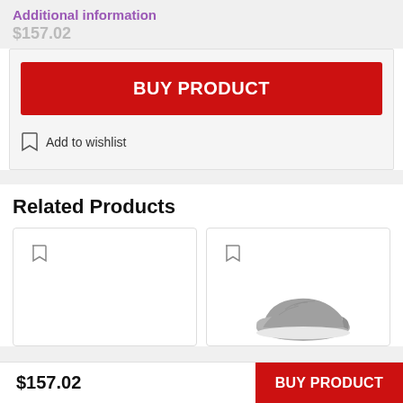Additional information
$157.02
BUY PRODUCT
Add to wishlist
Related Products
[Figure (photo): Product card 1 - empty with bookmark icon]
[Figure (photo): Product card 2 - shoe image with bookmark icon]
$157.02
BUY PRODUCT